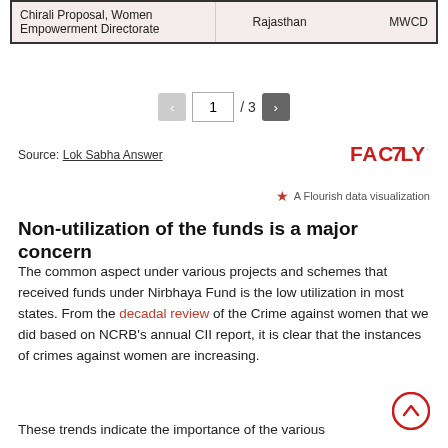|  |  |  |
| --- | --- | --- |
| Chirali Proposal, Women Empowerment Directorate | Rajasthan | MWCD |
1 / 3
Source: Lok Sabha Answer
[Figure (logo): FACTLY logo in red]
A Flourish data visualization
Non-utilization of the funds is a major concern
The common aspect under various projects and schemes that received funds under Nirbhaya Fund is the low utilization in most states. From the decadal review of the Crime against women that we did based on NCRB's annual CII report, it is clear that the instances of crimes against women are increasing.
These trends indicate the importance of the various